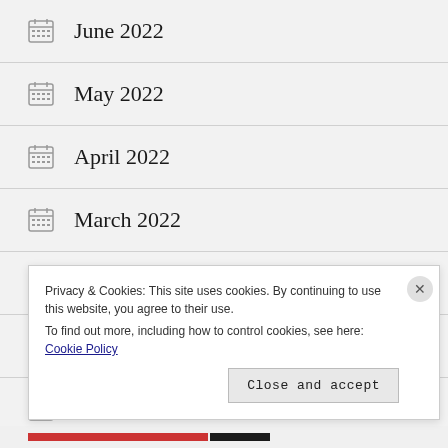June 2022
May 2022
April 2022
March 2022
February 2022
January 2022
December 2021
Privacy & Cookies: This site uses cookies. By continuing to use this website, you agree to their use. To find out more, including how to control cookies, see here: Cookie Policy
Close and accept